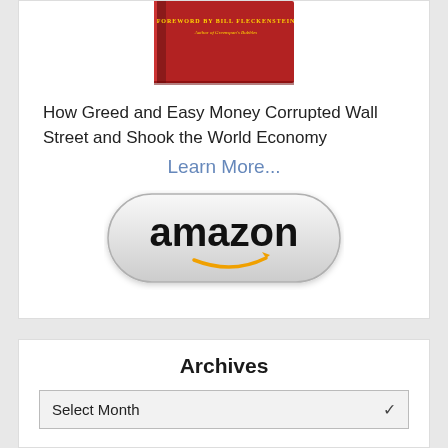[Figure (photo): Partial view of a red book cover with text 'FOREWORD BY BILL FLECKENSTEIN Author of Greenspan's Bubbles']
How Greed and Easy Money Corrupted Wall Street and Shook the World Economy
Learn More...
[Figure (logo): Amazon button with amazon logo and smile arrow]
Archives
Select Month
About The Big Picture